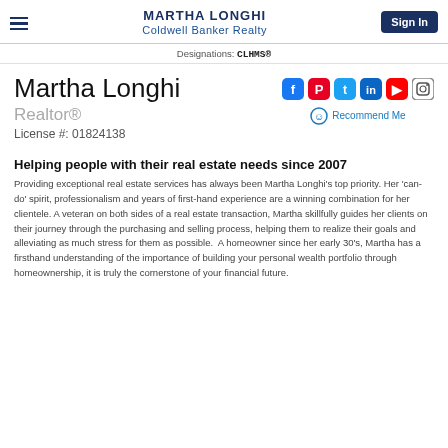MARTHA LONGHI
Coldwell Banker Realty
Designations: CLHMS®
Martha Longhi
Realtor®
License #: 01824138
Helping people with their real estate needs since 2007
Providing exceptional real estate services has always been Martha Longhi's top priority. Her 'can-do' spirit, professionalism and years of first-hand experience are a winning combination for her clientele. A veteran on both sides of a real estate transaction, Martha skillfully guides her clients on their journey through the purchasing and selling process, helping them to realize their goals and alleviating as much stress for them as possible.  A homeowner since her early 30's, Martha has a firsthand understanding of the importance of building your personal wealth portfolio through homeownership, it is truly the cornerstone of your financial future.